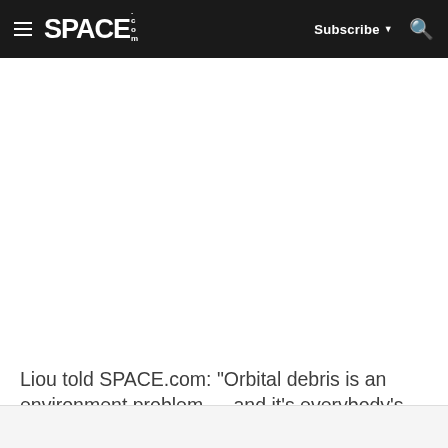SPACE.com — Subscribe — Search
Liou told SPACE.com: "Orbital debris is an environment problem … and it's everybody's